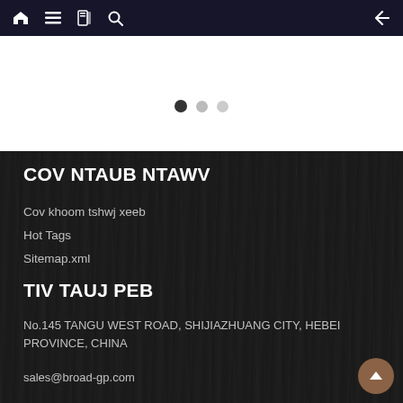Navigation bar with home, menu, book, search icons and back arrow
[Figure (other): White slider area with three pagination dots (one filled dark, two light grey)]
COV NTAUB NTAWV
Cov khoom tshwj xeeb
Hot Tags
Sitemap.xml
TIV TAUJ PEB
No.145 TANGU WEST ROAD, SHIJIAZHUANG CITY, HEBEI PROVINCE, CHINA
sales@broad-gp.com